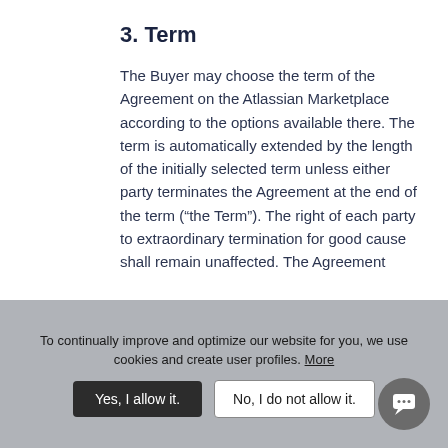3. Term
The Buyer may choose the term of the Agreement on the Atlassian Marketplace according to the options available there. The term is automatically extended by the length of the initially selected term unless either party terminates the Agreement at the end of the term (“the Term”). The right of each party to extraordinary termination for good cause shall remain unaffected. The Agreement
To continually improve and optimize our website for you, we use cookies and create user profiles. More
Yes, I allow it.
No, I do not allow it.